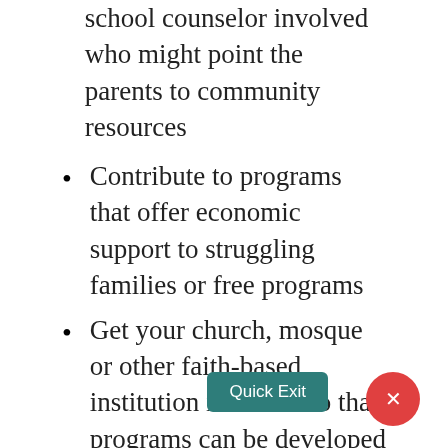school counselor involved who might point the parents to community resources
Contribute to programs that offer economic support to struggling families or free programs
Get your church, mosque or other faith-based institution involved so that programs can be developed to offer resources to the families in your community that are at risk.
Advocate
Write letters to legislators who control the state budget. Often Child Welfare agencies are woefully underfunded, which leads to high caseloads of social workers and less